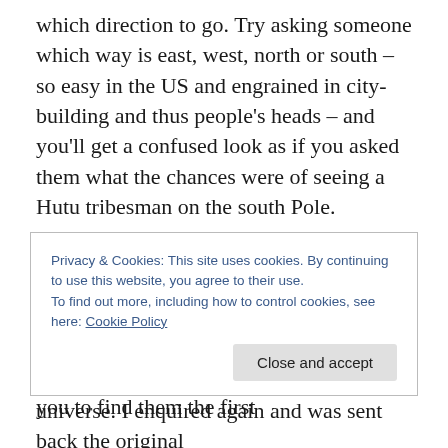which direction to go. Try asking someone which way is east, west, north or south – so easy in the US and engrained in city-building and thus people's heads – and you'll get a confused look as if you asked them what the chances were of seeing a Hutu tribesman on the south Pole.
I was advised to go in one direction, which I did for a few minutes. Following numbers is harder than you might think, as few offices or shops display their number, possibly because they don't want you to find them the first
Privacy & Cookies: This site uses cookies. By continuing to use this website, you agree to their use. To find out more, including how to control cookies, see here: Cookie Policy
Close and accept
universe. I enquired again and was sent back the original